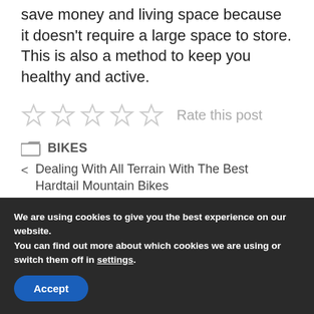save money and living space because it doesn't require a large space to store. This is also a method to keep you healthy and active.
Rate this post
BIKES
Dealing With All Terrain With The Best Hardtail Mountain Bikes
Top 6 Best Road Bikes Update 2021
We are using cookies to give you the best experience on our website.
You can find out more about which cookies we are using or switch them off in settings.